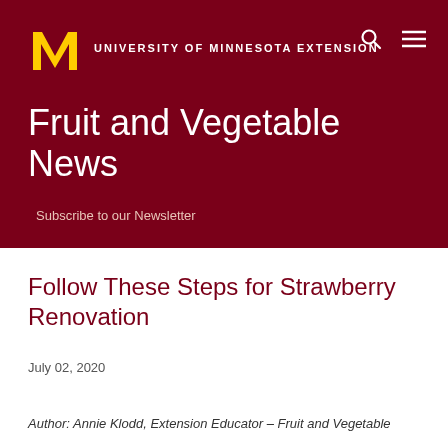University of Minnesota Extension
Fruit and Vegetable News
Subscribe to our Newsletter
Follow These Steps for Strawberry Renovation
July 02, 2020
Author: Annie Klodd, Extension Educator – Fruit and Vegetable